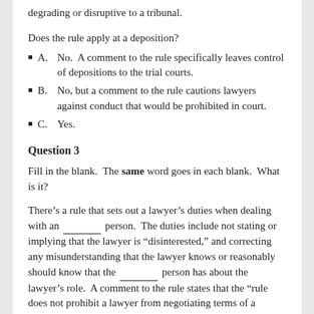degrading or disruptive to a tribunal.
Does the rule apply at a deposition?
A.       No.  A comment to the rule specifically leaves control of depositions to the trial courts.
B.       No, but a comment to the rule cautions lawyers against conduct that would be prohibited in court.
C.       Yes.
Question 3
Fill in the blank.  The same word goes in each blank.  What is it?
There’s a rule that sets out a lawyer’s duties when dealing with an _______ person.  The duties include not stating or implying that the lawyer is “disinterested,” and correcting any misunderstanding that the lawyer knows or reasonably should know that the _______ person has about the lawyer’s role.  A comment to the rule states that the “rule does not prohibit a lawyer from negotiating terms of a transaction or settling a dispute with the _______ person.”